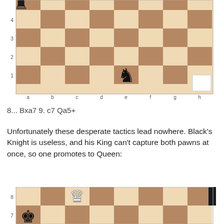[Figure (illustration): Partial chess board showing position after move, with black rook on a8 area and black knight on e1. Board displays ranks 1-4 and files a-h. Blue arrow indicator present.]
8... Bxa7 9. c7 Qa5+
Unfortunately these desperate tactics lead nowhere. Black's Knight is useless, and his King can't capture both pawns at once, so one promotes to Queen:
[Figure (illustration): Partial chess board showing promotion position, with white queen on c8 (just promoted, with blue arrow), and black king on a7 area. Rank 7-8 visible.]